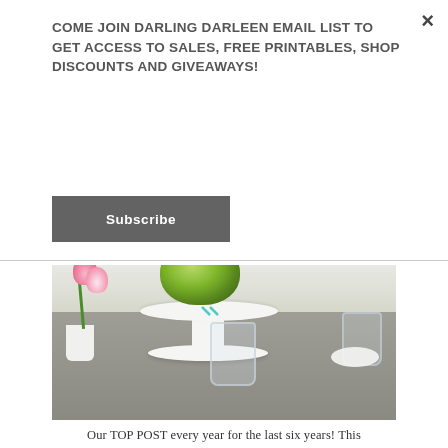×
COME JOIN DARLING DARLEEN EMAIL LIST TO GET ACCESS TO SALES, FREE PRINTABLES, SHOP DISCOUNTS AND GIVEAWAYS!
Subscribe
[Figure (photo): Spring table setting with a white pedestal cake stand holding a green cabbage centerpiece, pink tulips in a white vase, clear glasses, and white dishes on a gray table with lace napkins.]
Our TOP POST every year for the last six years! This